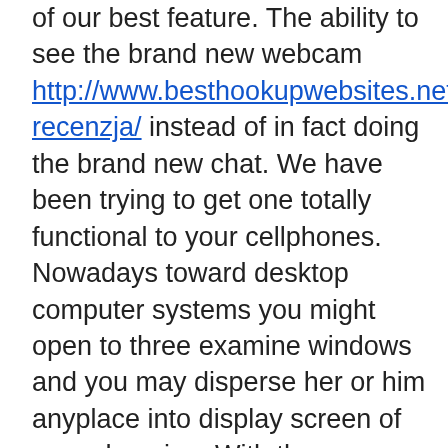of our best feature. The ability to see the brand new webcam http://www.besthookupwebsites.net/pl/abdlmatch-recenzja/ instead of in fact doing the brand new chat. We have been trying to get one totally functional to your cellphones. Nowadays toward desktop computer systems you might open to three examine windows and you may disperse her or him anyplace into display screen of your choosing. With the cellphones you could unlock step three preview window nonetheless they don't be seemingly movable so that they become intefering collectively. We are doing which. In the meantime the brand new enhance is to try to just unlock step one examine window immediately.
– Please reason brand new disorder. I've been looking to track down a problem that is demonstrating in search